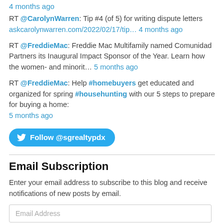4 months ago
RT @CarolynWarren: Tip #4 (of 5) for writing dispute letters askcarolynwarren.com/2022/02/17/tip… 4 months ago
RT @FreddieMac: Freddie Mac Multifamily named Comunidad Partners its Inaugural Impact Sponsor of the Year. Learn how the women- and minorit… 5 months ago
RT @FreddieMac: Help #homebuyers get educated and organized for spring #househunting with our 5 steps to prepare for buying a home: 5 months ago
[Figure (other): Twitter Follow button: Follow @sgrealtypdx]
Email Subscription
Enter your email address to subscribe to this blog and receive notifications of new posts by email.
Email Address